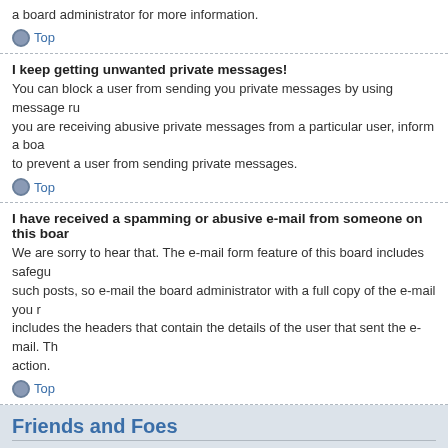a board administrator for more information.
Top
I keep getting unwanted private messages!
You can block a user from sending you private messages by using message rules you are receiving abusive private messages from a particular user, inform a board administrator to prevent a user from sending private messages.
Top
I have received a spamming or abusive e-mail from someone on this board
We are sorry to hear that. The e-mail form feature of this board includes safeguards such posts, so e-mail the board administrator with a full copy of the e-mail you received. It is very important that this includes the headers that contain the details of the user that sent the e-mail. The board administrator can then take action.
Top
Friends and Foes
What are my Friends and Foes lists?
You can use these lists to organise other members of the board. Members added to your Friends list will be listed within your User Control Panel for quick access to see their online status and to send them private messages. Subject to template support, posts from these users may also be highlighted. If you add a user to your Foes list, any posts they make will be hidden by default.
Top